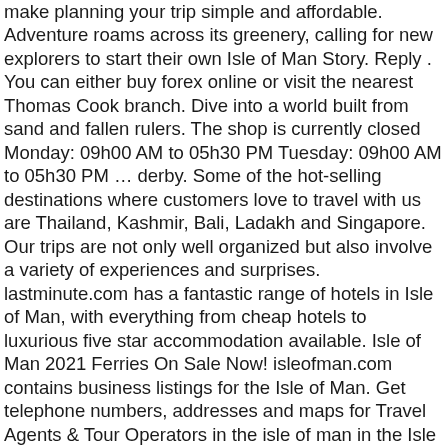make planning your trip simple and affordable. Adventure roams across its greenery, calling for new explorers to start their own Isle of Man Story. Reply . You can either buy forex online or visit the nearest Thomas Cook branch. Dive into a world built from sand and fallen rulers. The shop is currently closed Monday: 09h00 AM to 05h30 PM Tuesday: 09h00 AM to 05h30 PM … derby. Some of the hot-selling destinations where customers love to travel with us are Thailand, Kashmir, Bali, Ladakh and Singapore. Our trips are not only well organized but also involve a variety of experiences and surprises. lastminute.com has a fantastic range of hotels in Isle of Man, with everything from cheap hotels to luxurious five star accommodation available. Isle of Man 2021 Ferries On Sale Now! isleofman.com contains business listings for the Isle of Man. Get telephone numbers, addresses and maps for Travel Agents & Tour Operators in the isle of man in the Isle of Man.isleofman.com is the Isle of Man's online directory, providing classified business information in the Isle of Man, including detailed maps Lines open 24 hours a day . Choose It was a subsidiary of the Thomas Cook Group, who operated a total of 555 travel stores all over the United Kingdom. Let, 0.6953125 173.44.46.184 companylisting Ban:1, But:1 15/12/2020, "Thomas Cook Travel Ltd, Strand Street, Isle of